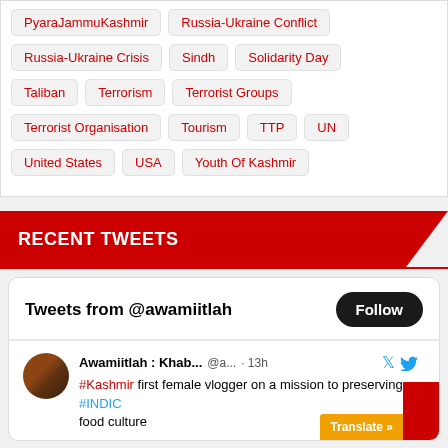PyaraJammuKashmir
Russia-Ukraine Conflict
Russia-Ukraine Crisis
Sindh
Solidarity Day
Taliban
Terrorism
Terrorist Groups
Terrorist Organisation
Tourism
TTP
UN
United States
USA
Youth Of Kashmir
RECENT TWEETS
Tweets from @awamiitlah
Awamiitlah : Khab... @a... · 13h #Kashmir first female vlogger on a mission to preserving #INDIC food culture